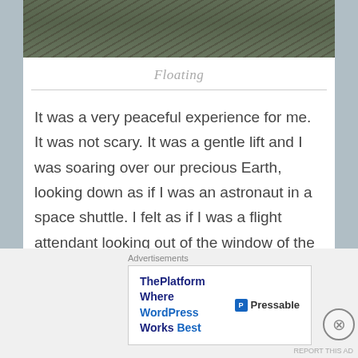[Figure (photo): Aerial photograph of landscape viewed from above, showing roads and fields]
Floating
It was a very peaceful experience for me. It was not scary. It was a gentle lift and I was soaring over our precious Earth, looking down as if I was an astronaut in a space shuttle. I felt as if I was a flight attendant looking out of the window of the airplane after we took off when I worked for Delta. It was so harmonious with what I believe in. It was the Universe and being in touch with the cosmos. It was quiet, it was tranquil, it was not a rapid descent but a very slow floating above the beauty of the mountains, the ocean and the fluttering of…
Advertisements
[Figure (screenshot): Advertisement banner: ThePlatform Where WordPress Works Best - Pressable]